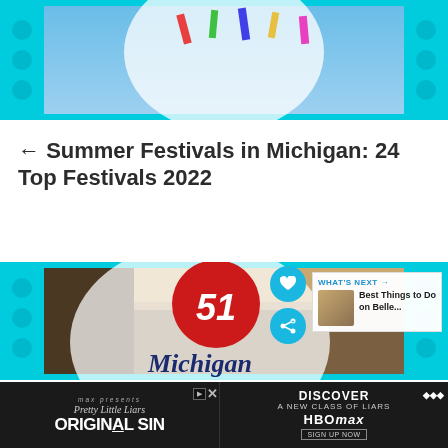[Figure (photo): Top image of a summer festival with kites or colorful decorations against a blue sky, shown in a cyan-bordered card format]
← Summer Festivals in Michigan: 24 Top Festivals 2022
[Figure (photo): Card image showing Michigan festivals article thumbnail with a red badge showing number 51, a large circular white overlay, and Michigan text in dark blue italic serif font. Includes a 'What's Next' overlay panel showing 'Best Things to Do on Belle...' with a thumbnail.]
[Figure (advertisement): Bottom advertisement bar: left side shows HBO Max 'Pretty Little Liars: Original Sin' promotion; right side shows 'DISCOVER A NEW CLASS OF LIARS / HBO max' with sign up now button]